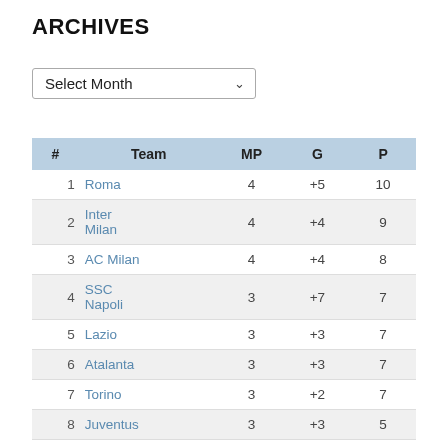ARCHIVES
Select Month
| # | Team | MP | G | P |
| --- | --- | --- | --- | --- |
| 1 | Roma | 4 | +5 | 10 |
| 2 | Inter Milan | 4 | +4 | 9 |
| 3 | AC Milan | 4 | +4 | 8 |
| 4 | SSC Napoli | 3 | +7 | 7 |
| 5 | Lazio | 3 | +3 | 7 |
| 6 | Atalanta | 3 | +3 | 7 |
| 7 | Torino | 3 | +2 | 7 |
| 8 | Juventus | 3 | +3 | 5 |
| 9 | Fiorentina | 3 | +1 | 5 |